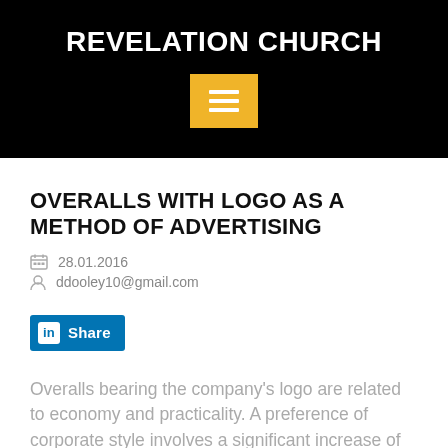REVELATION CHURCH
[Figure (other): Yellow hamburger menu button icon on black background]
OVERALLS WITH LOGO AS A METHOD OF ADVERTISING
28.01.2016
ddooley10@gmail.com
[Figure (other): LinkedIn Share button]
Overalls bearing the company's logo are related to economy and practicality. A preference of corporate style involves a significant increase of costs for development of design solutions, customized tailoring, selection of